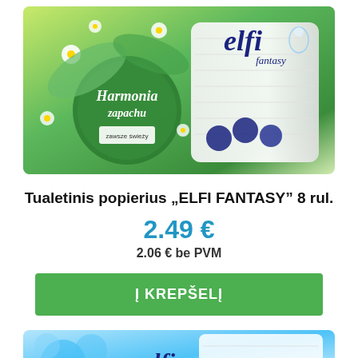[Figure (photo): Elfi Fantasy toilet paper package with green leaves and daisy flowers design, 8 rolls packaging showing the brand name 'elfi fantasy' with a fairy illustration]
Tualetinis popierius „ELFI FANTASY“ 8 rul.
2.49 €
2.06 € be PVM
Į KREPŠELĮ
[Figure (photo): Partial view of another Elfi product package with blue design, partially cropped at bottom of page]